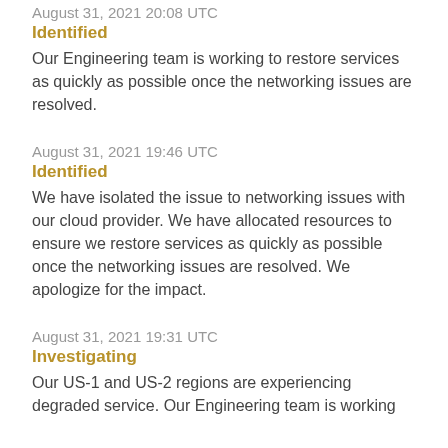August 31, 2021 20:08 UTC
Identified
Our Engineering team is working to restore services as quickly as possible once the networking issues are resolved.
August 31, 2021 19:46 UTC
Identified
We have isolated the issue to networking issues with our cloud provider. We have allocated resources to ensure we restore services as quickly as possible once the networking issues are resolved. We apologize for the impact.
August 31, 2021 19:31 UTC
Investigating
Our US-1 and US-2 regions are experiencing degraded service. Our Engineering team is working